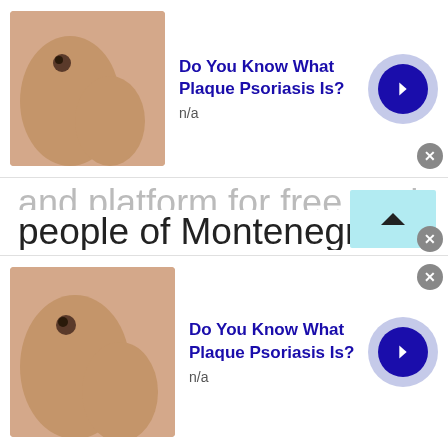[Figure (screenshot): Top advertisement banner: thumbnail of skin/hand image, bold blue title 'Do You Know What Plaque Psoriasis Is?', subtitle 'n/a', blue arrow button, close X button]
...and platform for free to chat with people of Montenegro without having to leave your place but wanna get some air and fun chats online with people of Montenegro. A fantastic platform to maintain life where fun and enjoyment hides back in the...
[Figure (screenshot): Bottom advertisement banner: thumbnail of skin/hand image, bold blue title 'Do You Know What Plaque Psoriasis Is?', subtitle 'n/a', blue arrow button, close X button]